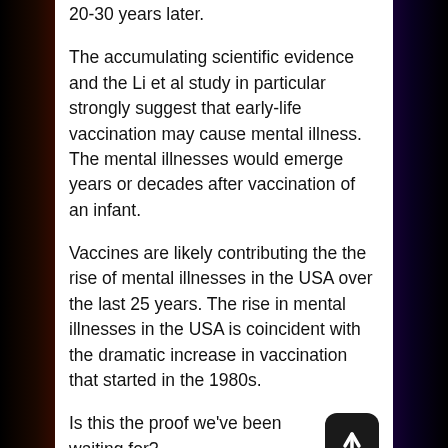20-30 years later.
The accumulating scientific evidence and the Li et al study in particular strongly suggest that early-life vaccination may cause mental illness. The mental illnesses would emerge years or decades after vaccination of an infant.
Vaccines are likely contributing the the rise of mental illnesses in the USA over the last 25 years. The rise in mental illnesses in the USA is coincident with the dramatic increase in vaccination that started in the 1980s.
Is this the proof we've been waiting for?
As you've just read, there is a growing body of